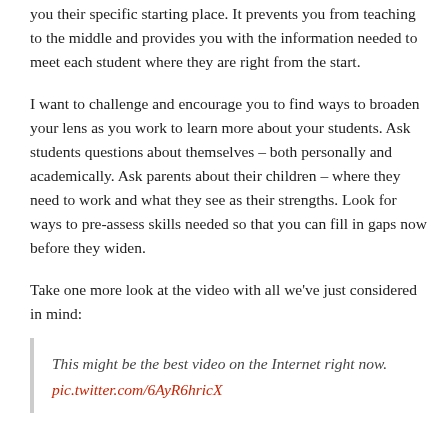you their specific starting place. It prevents you from teaching to the middle and provides you with the information needed to meet each student where they are right from the start.
I want to challenge and encourage you to find ways to broaden your lens as you work to learn more about your students. Ask students questions about themselves – both personally and academically. Ask parents about their children – where they need to work and what they see as their strengths. Look for ways to pre-assess skills needed so that you can fill in gaps now before they widen.
Take one more look at the video with all we've just considered in mind:
This might be the best video on the Internet right now. pic.twitter.com/6AyR6hricX